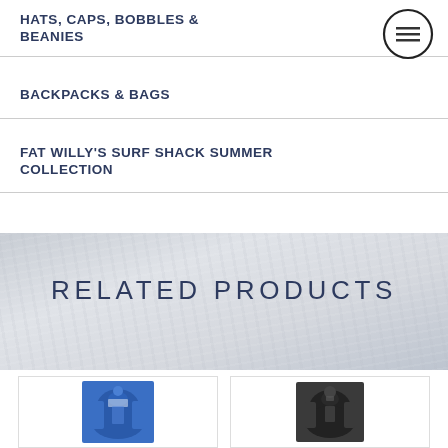HATS, CAPS, BOBBLES & BEANIES
BACKPACKS & BAGS
FAT WILLY'S SURF SHACK SUMMER COLLECTION
RELATED PRODUCTS
[Figure (photo): Blue jacket product thumbnail]
[Figure (photo): Black jacket/hoodie product thumbnail]